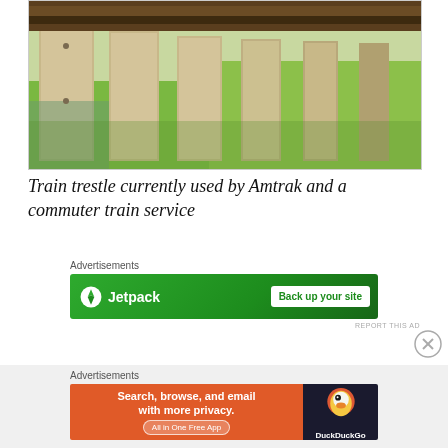[Figure (photo): Photo of a train trestle showing concrete and wooden supports with green grass visible in the background]
Train trestle currently used by Amtrak and a commuter train service
Advertisements
[Figure (other): Jetpack advertisement banner: lightning bolt icon, 'Jetpack' text, 'Back up your site' button on green background]
REPORT THIS AD
Advertisements
[Figure (other): DuckDuckGo advertisement: 'Search, browse, and email with more privacy. All in One Free App' on orange background with DuckDuckGo logo on dark background]